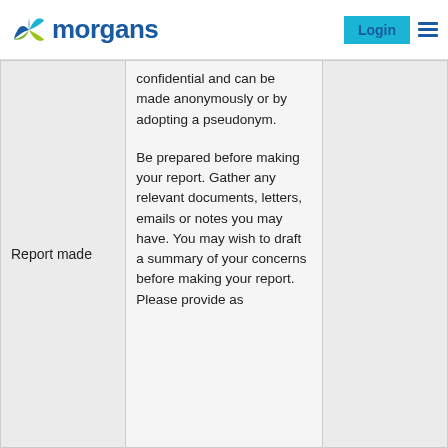[Figure (logo): Morgans financial logo with colorful butterfly/M icon and blue text reading 'morgans']
| Report made | …confidential and can be made anonymously or by adopting a pseudonym.

Be prepared before making your report. Gather any relevant documents, letters, emails or notes you may have. You may wish to draft a summary of your concerns before making your report. Please provide as |  |